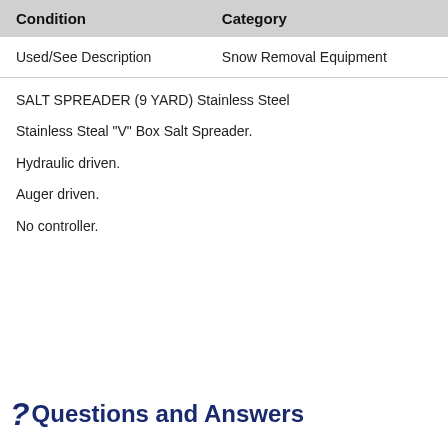| Condition | Category |
| --- | --- |
| Used/See Description | Snow Removal Equipment |
SALT SPREADER (9 YARD) Stainless Steel
Stainless Steal "V" Box Salt Spreader.
Hydraulic driven.
Auger driven.
No controller.
Questions and Answers